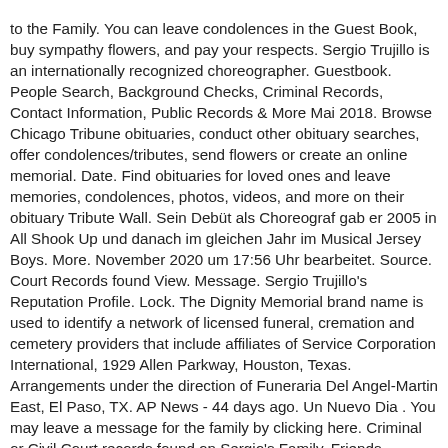to the Family. You can leave condolences in the Guest Book, buy sympathy flowers, and pay your respects. Sergio Trujillo is an internationally recognized choreographer. Guestbook. People Search, Background Checks, Criminal Records, Contact Information, Public Records & More Mai 2018. Browse Chicago Tribune obituaries, conduct other obituary searches, offer condolences/tributes, send flowers or create an online memorial. Date. Find obituaries for loved ones and leave memories, condolences, photos, videos, and more on their obituary Tribute Wall. Sein Debüt als Choreograf gab er 2005 in All Shook Up und danach im gleichen Jahr im Musical Jersey Boys. More. November 2020 um 17:56 Uhr bearbeitet. Source. Court Records found View. Message. Sergio Trujillo's Reputation Profile. Lock. The Dignity Memorial brand name is used to identify a network of licensed funeral, cremation and cemetery providers that include affiliates of Service Corporation International, 1929 Allen Parkway, Houston, Texas. Arrangements under the direction of Funeraria Del Angel-Martin East, El Paso, TX. AP News - 44 days ago. Un Nuevo Dia . You may leave a message for the family by clicking here. Criminal or Civil Court records found on Sergio's Family, Friends, Neighbors, or Classmates View Details. Share: Barbara's Obituary. 9 Profile Searches. 4 Profile Searches Follow. Top. Fred September 18, 2018. Search. El Tiempo en los Trujillo